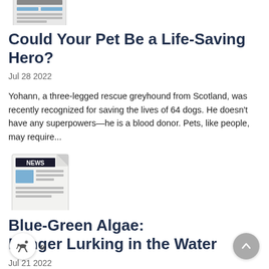[Figure (illustration): News newspaper icon — partially visible at top of page]
Could Your Pet Be a Life-Saving Hero?
Jul 28 2022
Yohann, a three-legged rescue greyhound from Scotland, was recently recognized for saving the lives of 64 dogs. He doesn't have any superpowers—he is a blood donor. Pets, like people, may require...
[Figure (illustration): News newspaper icon]
Blue-Green Algae: Danger Lurking in the Water
Jul 21 2022
It's HOT out! Heat waves seem like the best time to